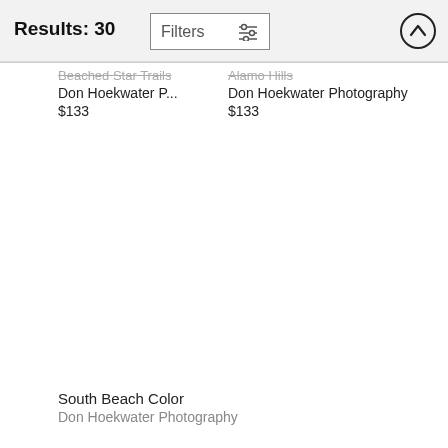Results: 30  Filters
Beached Star Trails
Don Hoekwater P...
$133
Alamo Hills
Don Hoekwater Photography
$133
South Beach Color
Don Hoekwater Photography